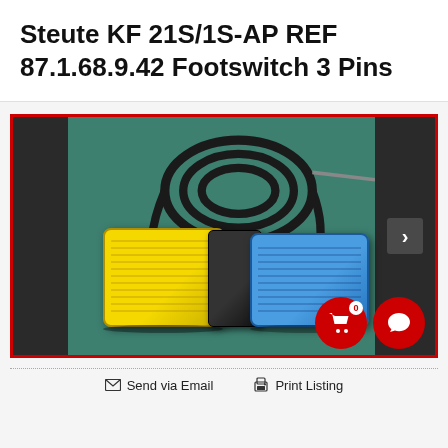Steute KF 21S/1S-AP REF 87.1.68.9.42 Footswitch 3 Pins
[Figure (photo): Photo of a Steute KF 21S/1S-AP footswitch with 3 pins: a yellow pedal on the left, a black central unit, and a blue pedal on the right, with a coiled black cable on top, displayed on a teal background. A red-bordered image carousel with a right arrow navigation button. Two red circular buttons at bottom right: a shopping cart icon with badge '0' and a chat bubble icon.]
Send via Email   Print Listing